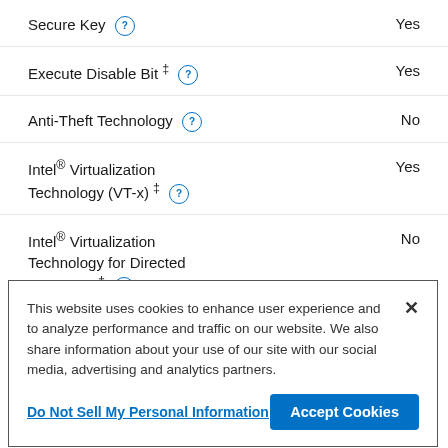Secure Key   Yes
Execute Disable Bit ‡   Yes
Anti-Theft Technology   No
Intel® Virtualization Technology (VT-x) ‡   Yes
Intel® Virtualization Technology for Directed I/O (VT-d) ‡   No
This website uses cookies to enhance user experience and to analyze performance and traffic on our website. We also share information about your use of our site with our social media, advertising and analytics partners.
Do Not Sell My Personal Information
Accept Cookies